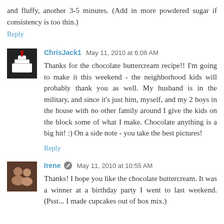and fluffy, another 3-5 minutes. (Add in more powdered sugar if consistency is too thin.)
Reply
ChrisJack1  May 11, 2010 at 6:08 AM
Thanks for the chocolate buttercream recipe!! I'm going to make it this weekend - the neighborhood kids will probably thank you as well. My husband is in the military, and since it's just him, myself, and my 2 boys in the house with no other family around I give the kids on the block some of what I make. Chocolate anything is a big hit! :) On a side note - you take the best pictures!
Reply
[Figure (photo): Avatar photo of ChrisJack1 showing a wedding cake]
Irene  May 11, 2010 at 10:55 AM
Thanks! I hope you like the chocolate buttercream. It was a winner at a birthday party I went to last weekend. (Psst... I made cupcakes out of box mix.)
[Figure (photo): Avatar photo of Irene showing two people]